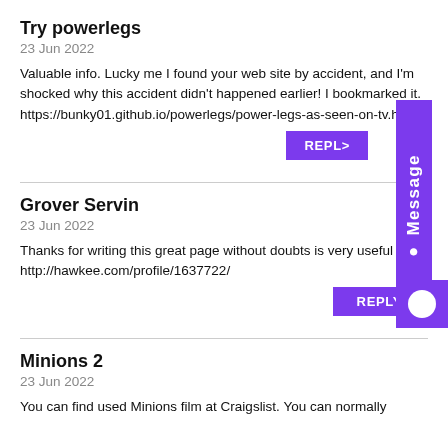Try powerlegs
23 Jun 2022
Valuable info. Lucky me I found your web site by accident, and I'm shocked why this accident didn't happened earlier! I bookmarked it. https://bunky01.github.io/powerlegs/power-legs-as-seen-on-tv.html
Grover Servin
23 Jun 2022
Thanks for writing this great page without doubts is very useful http://hawkee.com/profile/1637722/
Minions 2
23 Jun 2022
You can find used Minions film at Craigslist. You can normally